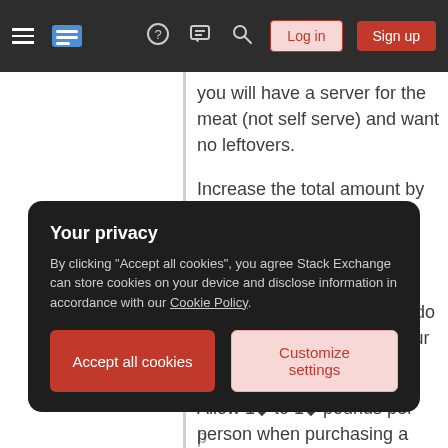Stack Exchange navigation bar with hamburger menu, logo, help, chat, search icons, Log in and Sign up buttons
you will have a server for the meat (not self serve) and want no leftovers.
Increase the total amount by 50% if you want lots of leftovers or expect lots of heavy eaters
Prestuffed frozen turkey (do NOT prestuff and freeze your own, it is unsafe)
Allow 1¾ to 1¾ pounds per person when purchasing a prestuffed turkey.
Your privacy
By clicking "Accept all cookies", you agree Stack Exchange can store cookies on your device and disclose information in accordance with our Cookie Policy.
Accept all cookies  Customize settings